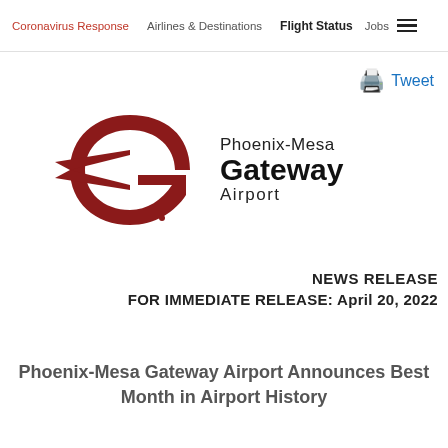Coronavirus Response | Airlines & Destinations | Flight Status | Jobs
[Figure (other): Tweet button with printer icon]
[Figure (logo): Phoenix-Mesa Gateway Airport logo with red stylized aircraft/G shape and airport name text]
NEWS RELEASE
FOR IMMEDIATE RELEASE: April 20, 2022
Phoenix-Mesa Gateway Airport Announces Best Month in Airport History